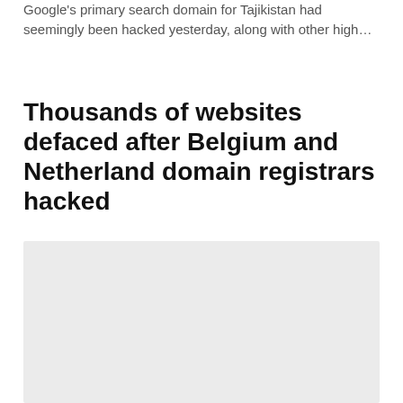Google's primary search domain for Tajikistan had seemingly been hacked yesterday, along with other high…
Thousands of websites defaced after Belgium and Netherland domain registrars hacked
[Figure (photo): A large light gray placeholder image rectangle]